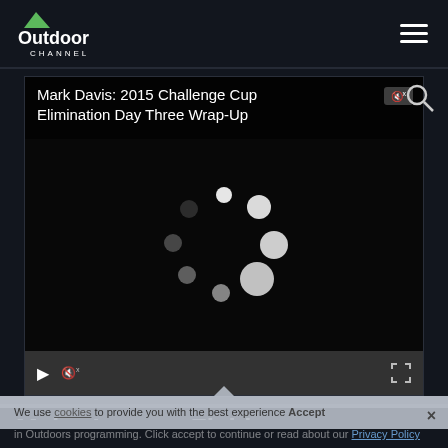Outdoor Channel
[Figure (screenshot): Video player showing 'Mark Davis: 2015 Challenge Cup Elimination Day Three Wrap-Up' with loading spinner animation and playback controls bar at the bottom]
THE SHOW  ABOUT  SCENES  PHOTOS
We use cookies to provide you with the best experience in Outdoors programming. Click accept to continue or read about our Privacy Policy
Major League Fishing